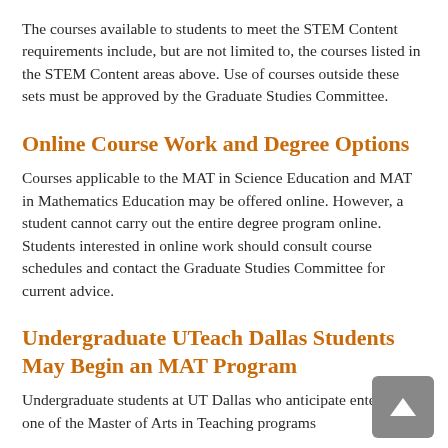The courses available to students to meet the STEM Content requirements include, but are not limited to, the courses listed in the STEM Content areas above. Use of courses outside these sets must be approved by the Graduate Studies Committee.
Online Course Work and Degree Options
Courses applicable to the MAT in Science Education and MAT in Mathematics Education may be offered online. However, a student cannot carry out the entire degree program online. Students interested in online work should consult course schedules and contact the Graduate Studies Committee for current advice.
Undergraduate UTeach Dallas Students May Begin an MAT Program
Undergraduate students at UT Dallas who anticipate entering one of the Master of Arts in Teaching programs